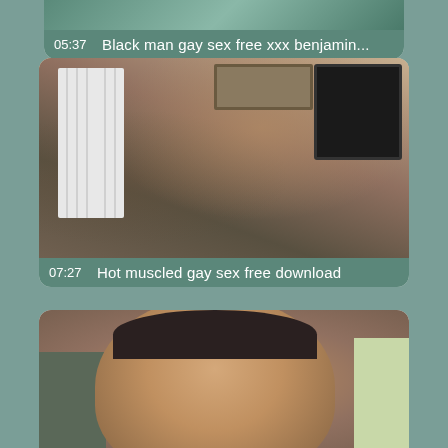[Figure (screenshot): Video thumbnail card 1 (partial, top) with duration 05:37 and title 'Black man gay sex free xxx benjamin...']
[Figure (screenshot): Video thumbnail card 2 showing two men, with duration 07:27 and title 'Hot muscled gay sex free download']
[Figure (screenshot): Video thumbnail card 3 (partial, bottom) showing a close-up face of a young man]